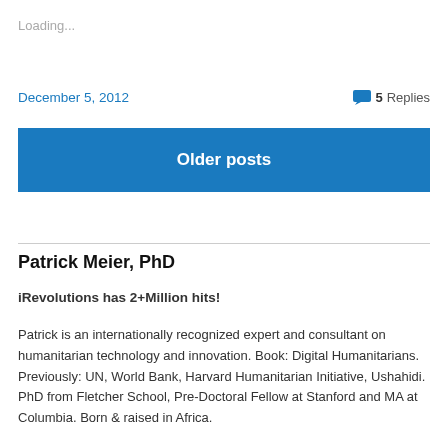Loading...
December 5, 2012
5 Replies
Older posts
Patrick Meier, PhD
iRevolutions has 2+Million hits!
Patrick is an internationally recognized expert and consultant on humanitarian technology and innovation. Book: Digital Humanitarians. Previously: UN, World Bank, Harvard Humanitarian Initiative, Ushahidi. PhD from Fletcher School, Pre-Doctoral Fellow at Stanford and MA at Columbia. Born & raised in Africa.